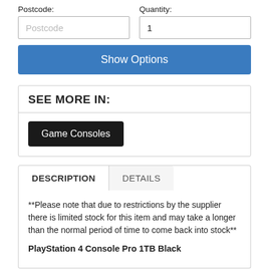Postcode:
Quantity:
Postcode (input placeholder)
1 (quantity input)
Show Options
SEE MORE IN:
Game Consoles
DESCRIPTION
DETAILS
**Please note that due to restrictions by the supplier there is limited stock for this item and may take a longer than the normal period of time to come back into stock**
PlayStation 4 Console Pro 1TB Black